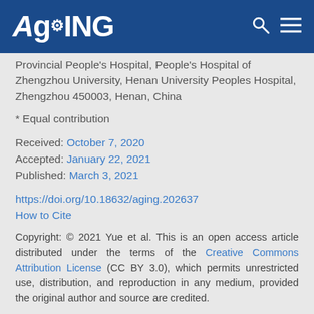AGING
Provincial People's Hospital, People's Hospital of Zhengzhou University, Henan University Peoples Hospital, Zhengzhou 450003, Henan, China
* Equal contribution
Received: October 7, 2020
Accepted: January 22, 2021
Published: March 3, 2021
https://doi.org/10.18632/aging.202637
How to Cite
Copyright: © 2021 Yue et al. This is an open access article distributed under the terms of the Creative Commons Attribution License (CC BY 3.0), which permits unrestricted use, distribution, and reproduction in any medium, provided the original author and source are credited.